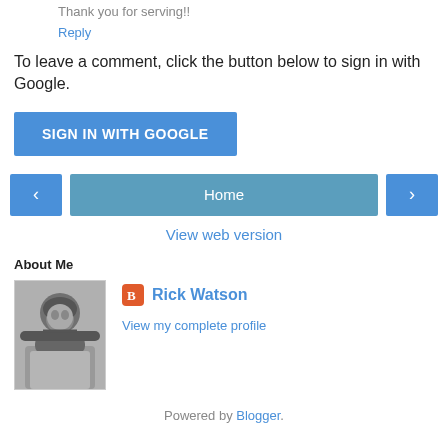Thank you for serving!!
Reply
To leave a comment, click the button below to sign in with Google.
[Figure (other): Blue button labeled SIGN IN WITH GOOGLE]
[Figure (other): Navigation bar with left arrow, Home button, and right arrow]
View web version
About Me
[Figure (photo): Black and white photo of Rick Watson wearing a hat, sitting outdoors]
Rick Watson
View my complete profile
Powered by Blogger.